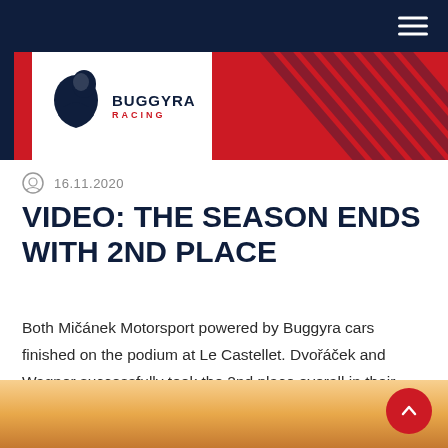[Figure (logo): Buggyra Racing logo with white horse/animal on navy and red background with diagonal stripes]
16.11.2020
VIDEO: THE SEASON ENDS WITH 2ND PLACE
Both Mičánek Motorsport powered by Buggyra cars finished on the podium at Le Castellet. Dvořáček and Wagner successfully took the 2nd place overall in their category.
[Figure (photo): Landscape photo showing a golden/amber outdoor scene, partial view at bottom of page]